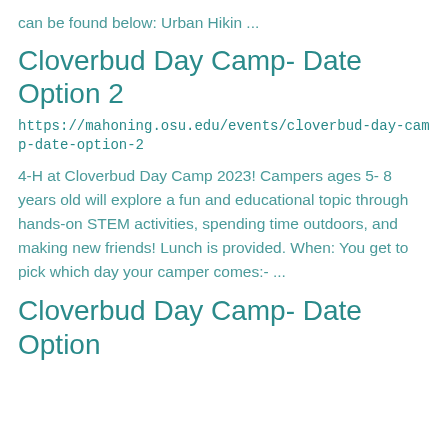can be found below: Urban Hikin ...
Cloverbud Day Camp- Date Option 2
https://mahoning.osu.edu/events/cloverbud-day-camp-date-option-2
4-H at Cloverbud Day Camp 2023! Campers ages 5- 8 years old will explore a fun and educational topic through hands-on STEM activities, spending time outdoors, and making new friends! Lunch is provided. When: You get to pick which day your camper comes:- ...
Cloverbud Day Camp- Date Option